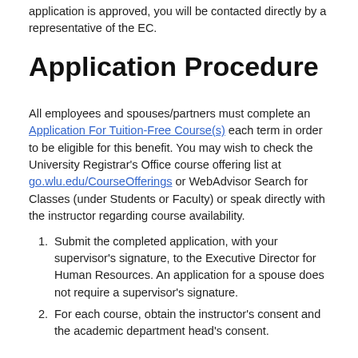application is approved, you will be contacted directly by a representative of the EC.
Application Procedure
All employees and spouses/partners must complete an Application For Tuition-Free Course(s) each term in order to be eligible for this benefit. You may wish to check the University Registrar’s Office course offering list at go.wlu.edu/CourseOfferings or WebAdvisor Search for Classes (under Students or Faculty) or speak directly with the instructor regarding course availability.
Submit the completed application, with your supervisor's signature, to the Executive Director for Human Resources. An application for a spouse does not require a supervisor's signature.
For each course, obtain the instructor's consent and the academic department head's consent.